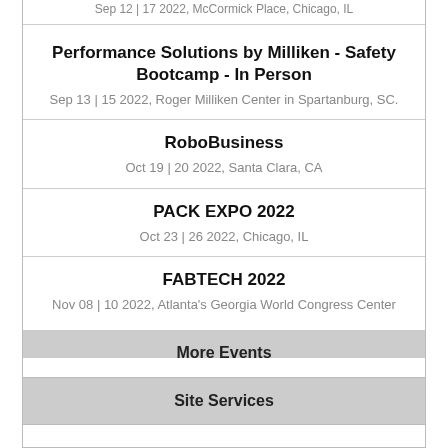Sep 12 | 17 2022, McCormick Place, Chicago, IL
Performance Solutions by Milliken - Safety Bootcamp - In Person
Sep 13 | 15 2022, Roger Milliken Center in Spartanburg, SC.
RoboBusiness
Oct 19 | 20 2022, Santa Clara, CA
PACK EXPO 2022
Oct 23 | 26 2022, Chicago, IL
FABTECH 2022
Nov 08 | 10 2022, Atlanta's Georgia World Congress Center
More Events
Site Services